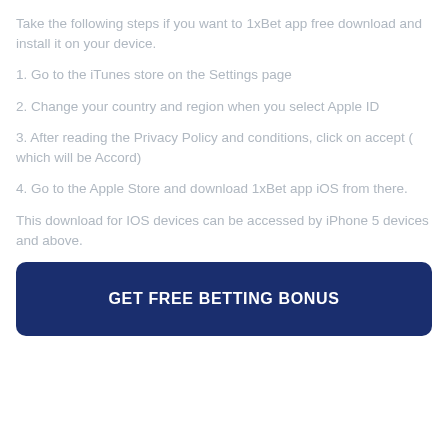Take the following steps if you want to 1xBet app free download and install it on your device.
1. Go to the iTunes store on the Settings page
2. Change your country and region when you select Apple ID
3. After reading the Privacy Policy and conditions, click on accept ( which will be Accord)
4. Go to the Apple Store and download 1xBet app iOS from there.
This download for IOS devices can be accessed by iPhone 5 devices and above.
GET FREE BETTING BONUS